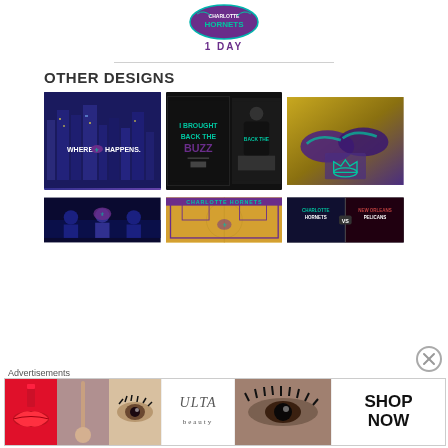[Figure (logo): Charlotte Hornets logo with circular badge on purple/teal background]
1 DAY
[Figure (other): Horizontal divider line]
OTHER DESIGNS
[Figure (photo): Charlotte city skyline at night with Hornets logo - WHERE IT HAPPENS text]
[Figure (photo): I BROUGHT BACK THE BUZZ t-shirt design shown on black shirt and worn by person]
[Figure (photo): Purple and teal Nike sneakers with glowing teal crown logo]
[Figure (photo): Charlotte Hornets group photo with winged mascot logo overlay]
[Figure (photo): Charlotte Hornets basketball court design overhead view]
[Figure (photo): Charlotte Hornets vs Pelicans promotional graphic]
[Figure (other): Close X button overlay]
Advertisements
[Figure (photo): ULTA Beauty advertisement banner with makeup imagery and SHOP NOW call to action]